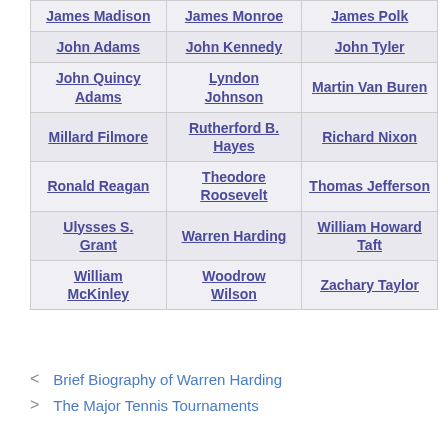| James Madison | James Monroe | James Polk |
| John Adams | John Kennedy | John Tyler |
| John Quincy Adams | Lyndon Johnson | Martin Van Buren |
| Millard Filmore | Rutherford B. Hayes | Richard Nixon |
| Ronald Reagan | Theodore Roosevelt | Thomas Jefferson |
| Ulysses S. Grant | Warren Harding | William Howard Taft |
| William McKinley | Woodrow Wilson | Zachary Taylor |
< Brief Biography of Warren Harding
> The Major Tennis Tournaments